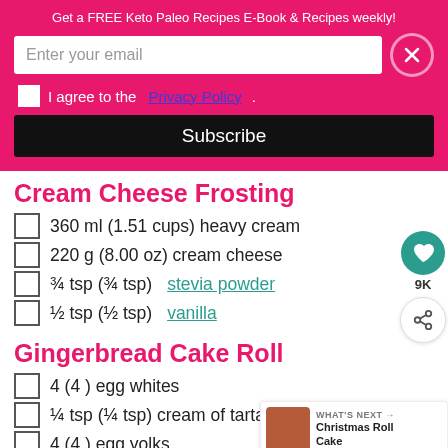Get a FREE Keto Paleo Recipes E-Book & Recipes weekly!
Enter your email
I agree to the Privacy Policy.
Subscribe
Cream Cheese Frosting
360 ml (1.51 cups) heavy cream
220 g (8.00 oz) cream cheese
¾ tsp (¾ tsp) stevia powder
½ tsp (½ tsp) vanilla
Gingerbread Cake Roll
4 (4 ) egg whites
¼ tsp (¼ tsp) cream of tartar
4 (4 ) egg yolks
WHAT'S NEXT → Christmas Roll Cake